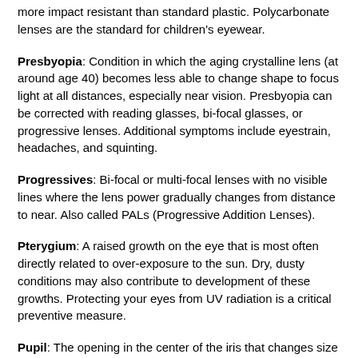more impact resistant than standard plastic. Polycarbonate lenses are the standard for children's eyewear.
Presbyopia: Condition in which the aging crystalline lens (at around age 40) becomes less able to change shape to focus light at all distances, especially near vision. Presbyopia can be corrected with reading glasses, bi-focal glasses, or progressive lenses. Additional symptoms include eyestrain, headaches, and squinting.
Progressives: Bi-focal or multi-focal lenses with no visible lines where the lens power gradually changes from distance to near. Also called PALs (Progressive Addition Lenses).
Pterygium: A raised growth on the eye that is most often directly related to over-exposure to the sun. Dry, dusty conditions may also contribute to development of these growths. Protecting your eyes from UV radiation is a critical preventive measure.
Pupil: The opening in the center of the iris that changes size to control how much light is entering the eye.